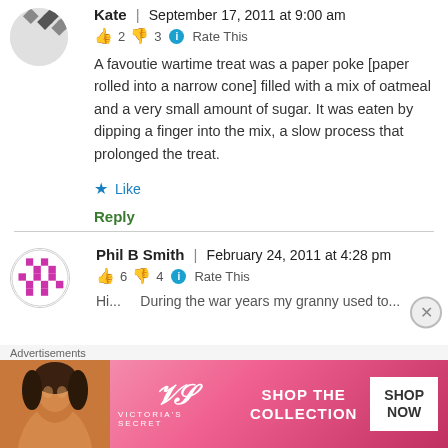Kate | September 17, 2011 at 9:00 am
👍 2 👎 3 ℹ Rate This
A favoutie wartime treat was a paper poke [paper rolled into a narrow cone] filled with a mix of oatmeal and a very small amount of sugar. It was eaten by dipping a finger into the mix, a slow process that prolonged the treat.
★ Like
Reply
Phil B Smith | February 24, 2011 at 4:28 pm
👍 6 👎 4 ℹ Rate This
Hi... During the war years my granny used to...
Advertisements
[Figure (other): Victoria's Secret advertisement banner: pink background with woman's photo, VS logo, 'SHOP THE COLLECTION' text, and 'SHOP NOW' button]